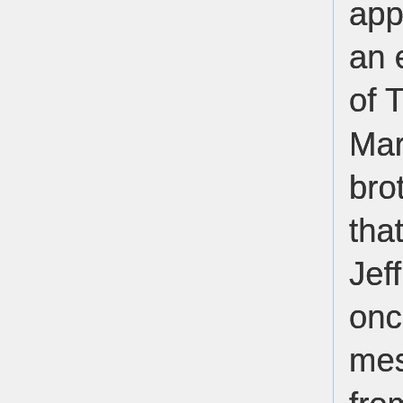appeal). Black is currently an enthusiastic supporter of Trump's presidential bid. Mark Epstein, Jeffrey's brother, testified in 2009 that Trump flew on Jeffrey's private jet at least once. Meanwhile, message pads [see below] from Epstein's Palm Beach mansion that were seized by investigators and obtained by VICE News indicate that Trump called Epstein twice in November of 2004."
"Garten said Trump had never been to Epstein's home. But a 2002 story in